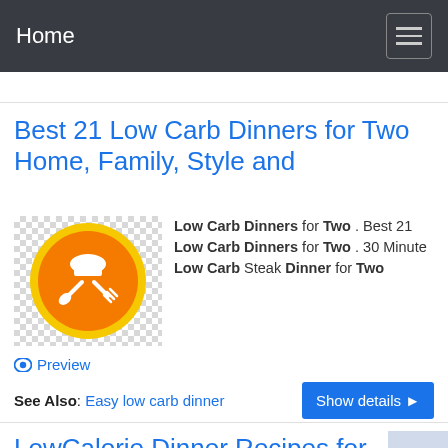Home
Best 21 Low Carb Dinners for Two Home, Family, Style and
[Figure (logo): Orange circular badge with chef hat, spoon and fork crossed, on a yellow ring, with checkered background]
Low Carb Dinners for Two . Best 21 Low Carb Dinners for Two . 30 Minute Low Carb Steak Dinner for Two
Preview
See Also: Easy low carb dinner
LowCalorie Dinner Recipes for